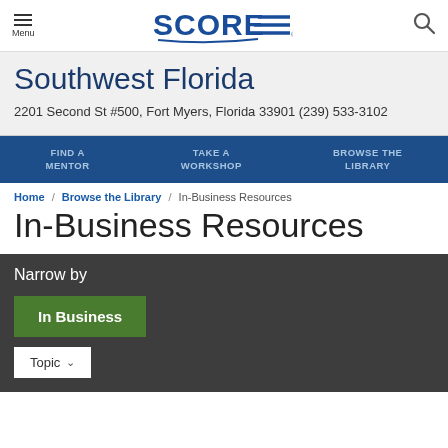SCORE — Southwest Florida
Southwest Florida
2201 Second St #500, Fort Myers, Florida 33901 (239) 533-3102
FIND A MENTOR | TAKE A WORKSHOP | BROWSE THE LIBRARY
Home / Browse the Library / In-Business Resources
In-Business Resources
Narrow by
In Business
Topic